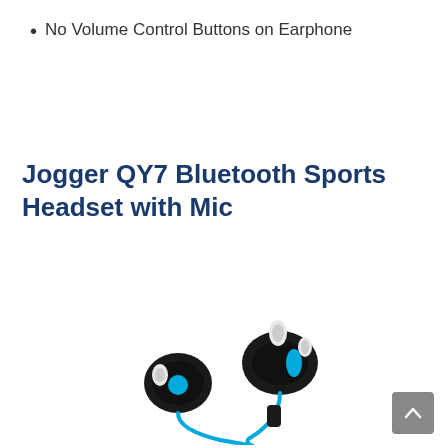No Volume Control Buttons on Earphone
Jogger QY7 Bluetooth Sports Headset with Mic
[Figure (photo): Product photo of Jogger QY7 Bluetooth Sports Headset with Mic — two black and blue earbuds connected by a cyan/blue cable, with white silicone ear tips, shown on a white background.]